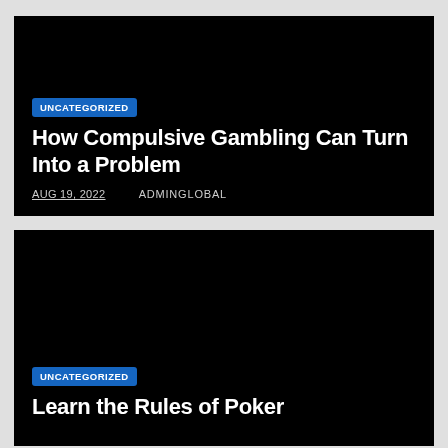[Figure (other): Black background card image for first article]
UNCATEGORIZED
How Compulsive Gambling Can Turn Into a Problem
AUG 19, 2022   ADMINGLOBAL
[Figure (other): Black background card image for second article]
UNCATEGORIZED
Learn the Rules of Poker